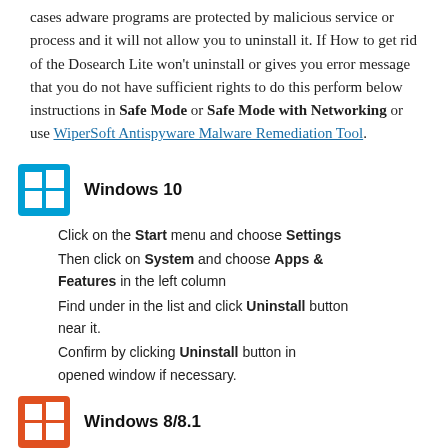cases adware programs are protected by malicious service or process and it will not allow you to uninstall it. If How to get rid of the Dosearch Lite won't uninstall or gives you error message that you do not have sufficient rights to do this perform below instructions in Safe Mode or Safe Mode with Networking or use WiperSoft Antispyware Malware Remediation Tool.
[Figure (logo): Windows logo icon in blue for Windows 10 section]
Windows 10
Click on the Start menu and choose Settings
Then click on System and choose Apps & Features in the left column
Find under in the list and click Uninstall button near it.
Confirm by clicking Uninstall button in opened window if necessary.
[Figure (logo): Windows logo icon in blue for Windows 8/8.1 section]
Windows 8/8.1
Right click on the bottom left corner of the screen (while on your desktop)
In the menu choose Control Panel